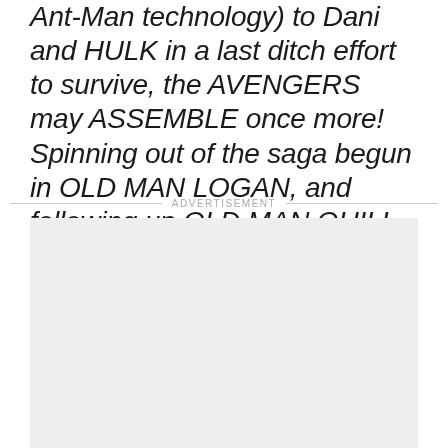Ant-Man technology) to Dani and HULK in a last ditch effort to survive, the AVENGERS may ASSEMBLE once more! Spinning out of the saga begun in OLD MAN LOGAN, and following up OLD MAN QUILL and DEAD MAN LOGAN, this is the can't miss premiere of Ed Brisson and Jonas Scharf's magnum opus!
ADVERTISEMENT
[Figure (other): Advertisement placeholder box (light gray rectangle)]